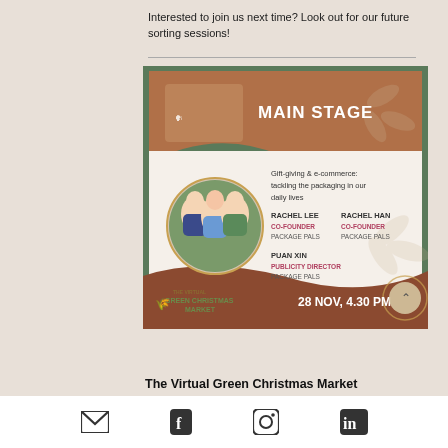Interested to join us next time? Look out for our future sorting sessions!
[Figure (infographic): Main Stage event card for The Virtual Green Christmas Market. Shows three women in a circular photo. Event topic: Gift-giving & e-commerce: tackling the packaging in our daily lives. Speakers: Rachel Lee (Co-Founder, Package Pals), Rachel Han (Co-Founder, Package Pals), Puan Xin (Publicity Director, Package Pals). Date: 28 Nov, 4.30 PM.]
The Virtual Green Christmas Market